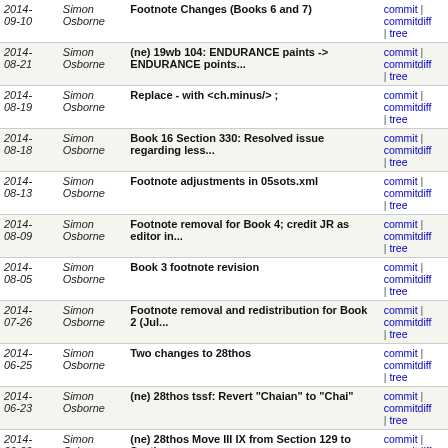| Date | Author | Message | Links |
| --- | --- | --- | --- |
| 2014-09-10 | Simon Osborne | Footnote Changes (Books 6 and 7) | commit | commitdiff | tree |
| 2014-08-21 | Simon Osborne | (ne) 19wb 104: ENDURANCE paints -> ENDURANCE points... | commit | commitdiff | tree |
| 2014-08-19 | Simon Osborne | Replace - with <ch.minus/> ; | commit | commitdiff | tree |
| 2014-08-18 | Simon Osborne | Book 16 Section 330: Resolved issue regarding less... | commit | commitdiff | tree |
| 2014-08-13 | Simon Osborne | Footnote adjustments in 05sots.xml | commit | commitdiff | tree |
| 2014-08-09 | Simon Osborne | Footnote removal for Book 4; credit JR as editor in... | commit | commitdiff | tree |
| 2014-08-05 | Simon Osborne | Book 3 footnote revision | commit | commitdiff | tree |
| 2014-07-26 | Simon Osborne | Footnote removal and redistribution for Book 2 (Jul... | commit | commitdiff | tree |
| 2014-06-25 | Simon Osborne | Two changes to 28thos | commit | commitdiff | tree |
| 2014-06-23 | Simon Osborne | (ne) 28thos tssf: Revert "Chaian" to "Chai" | commit | commitdiff | tree |
| 2014-06-22 | Simon Osborne | (ne) 28thos Move III IX from Section 129 to Section... | commit | commitdiff | tree |
| 2014-06-22 | Simon Osborne | (ne) 28thos 129: Move Illustration IX from Section... | commit | commitdiff | tree |
| 2014-06-21 | Simon Osborne | 28thos (ne) tssf: accused -> accursed | commit | commitdiff | tree |
| 2014-06- | Simon Osborne | Fix missing <footref/> elements in Book | commit | commitdiff |